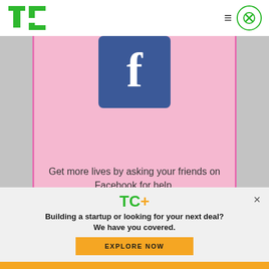TechCrunch logo, hamburger menu, close button
[Figure (screenshot): Mobile app screenshot on pink background showing Facebook logo icon and text: 'Get more lives by asking your friends on Facebook for help.']
[Figure (logo): TC+ logo in green and orange]
Building a startup or looking for your next deal? We have you covered.
EXPLORE NOW